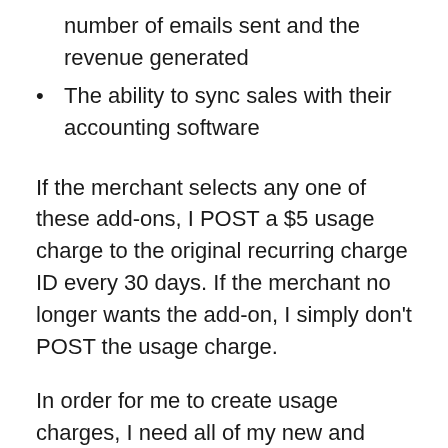number of emails sent and the revenue generated
The ability to sync sales with their accounting software
If the merchant selects any one of these add-ons, I POST a $5 usage charge to the original recurring charge ID every 30 days. If the merchant no longer wants the add-on, I simply don't POST the usage charge.
In order for me to create usage charges, I need all of my new and existing merchants to agree to the new charges. To make it simple for all parties, the next time merchants open my app, they will be required to accept new charges. If